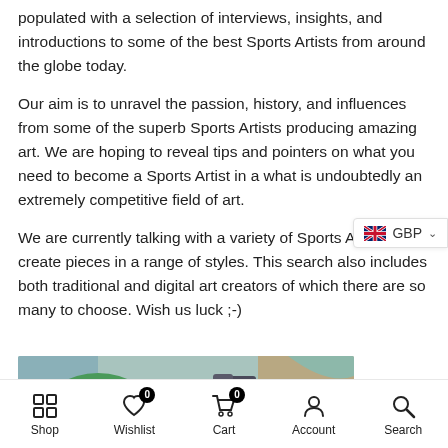populated with a selection of interviews, insights, and introductions to some of the best Sports Artists from around the globe today.
Our aim is to unravel the passion, history, and influences from some of the superb Sports Artists producing amazing art. We are hoping to reveal tips and pointers on what you need to become a Sports Artist in a what is undoubtedly an extremely competitive field of art.
We are currently talking with a variety of Sports Artists who create pieces in a range of styles. This search also includes both traditional and digital art creators of which there are so many to choose. Wish us luck ;-)
[Figure (illustration): Cartoon-style illustration showing a figure with a green cap, partially visible, with teal and brown background colors]
Shop | Wishlist 0 | Cart 0 | Account | Search